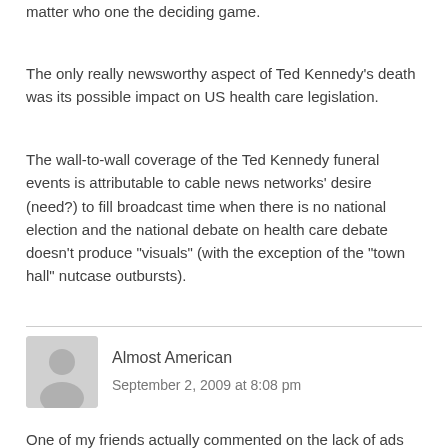matter who one the deciding game.
The only really newsworthy aspect of Ted Kennedy's death was its possible impact on US health care legislation.
The wall-to-wall coverage of the Ted Kennedy funeral events is attributable to cable news networks' desire (need?) to fill broadcast time when there is no national election and the national debate on health care debate doesn't produce “visuals” (with the exception of the “town hall” nutcase outbursts).
Almost American
September 2, 2009 at 8:08 pm
One of my friends actually commented on the lack of ads